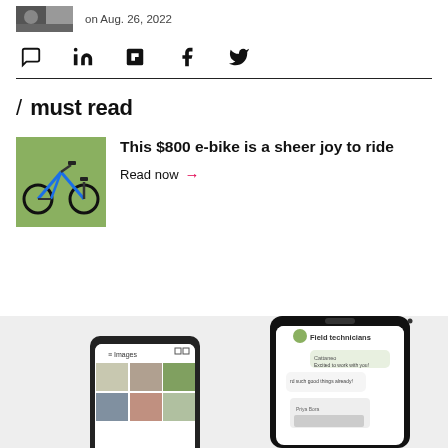on Aug. 26, 2022
[Figure (infographic): Social sharing icons: comment, LinkedIn, Flipboard, Facebook, Twitter]
/ must read
[Figure (photo): Blue folding e-bike on grass]
This $800 e-bike is a sheer joy to ride
Read now →
[Figure (screenshot): Two smartphones showing messaging/images apps - Field technicians chat and Images gallery]